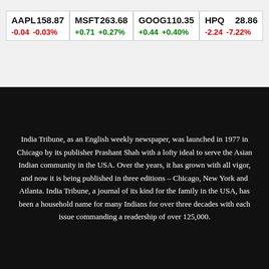| Ticker | Price | Change | Change% |
| --- | --- | --- | --- |
| AAPL | 158.87 | -0.04 | -0.03% |
| MSFT | 263.68 | +0.71 | +0.27% |
| GOOG | 110.35 | +0.44 | +0.40% |
| HPQ | 28.86 | -2.24 | -7.22% |
India Tribune, as an English weekly newspaper, was launched in 1977 in Chicago by its publisher Prashant Shah with a lofty ideal to serve the Asian Indian community in the USA. Over the years, it has grown with all vigor, and now it is being published in three editions – Chicago, New York and Atlanta. India Tribune, a journal of its kind for the family in the USA, has been a household name for many Indians for over three decades with each issue commanding a readership of over 125,000.